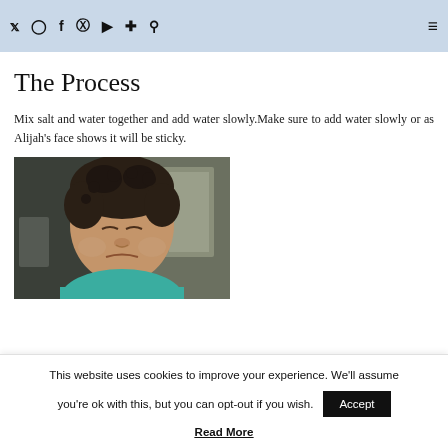everything in his mouth non toxic is important. Looking over the internet, you can easily mod with ingredients everyone has in their cabinets and if dried out properly will hold up for quite some time.
The Process
Mix salt and water together and add water slowly.Make sure to add water slowly or as Alijah's face shows it will be sticky.
[Figure (photo): A young boy with curly dark hair wearing a teal shirt, eyes closed, making a face, photographed indoors.]
This website uses cookies to improve your experience. We'll assume you're ok with this, but you can opt-out if you wish.
Read More